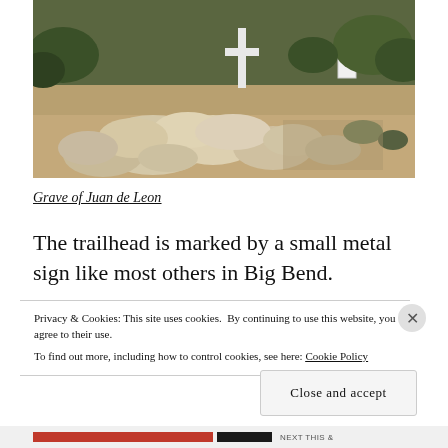[Figure (photo): A desert grave marked by a stone pile and a cross, surrounded by desert scrub vegetation and sandy soil.]
Grave of Juan de Leon
The trailhead is marked by a small metal sign like most others in Big Bend.
Privacy & Cookies: This site uses cookies. By continuing to use this website, you agree to their use.
To find out more, including how to control cookies, see here: Cookie Policy
Close and accept